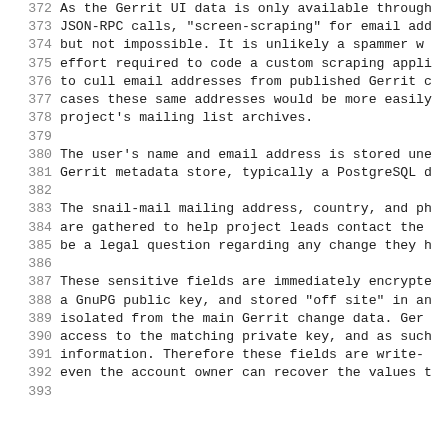372  As the Gerrit UI data is only available through
373  JSON-RPC calls, "screen-scraping" for email add
374  but not impossible.  It is unlikely a spammer w
375  effort required to code a custom scraping appli
376  to cull email addresses from published Gerrit c
377  cases these same addresses would be more easily
378  project's mailing list archives.
379
380  The user's name and email address is stored une
381  Gerrit metadata store, typically a PostgreSQL d
382
383  The snail-mail mailing address, country, and ph
384  are gathered to help project leads contact the
385  be a legal question regarding any change they h
386
387  These sensitive fields are immediately encrypte
388  a GnuPG public key, and stored "off site" in an
389  isolated from the main Gerrit change data.  Ger
390  access to the matching private key, and as such
391  information.  Therefore these fields are write-
392  even the account owner can recover the values t
393